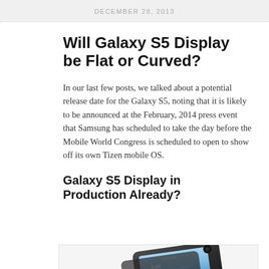DECEMBER 28, 2013
Will Galaxy S5 Display be Flat or Curved?
In our last few posts, we talked about a potential release date for the Galaxy S5, noting that it is likely to be announced at the February, 2014 press event that Samsung has scheduled to take the day before the Mobile World Congress is scheduled to open to show off its own Tizen mobile OS.
Galaxy S5 Display in Production Already?
[Figure (photo): Samsung Galaxy S4 smartphone shown at an angle, dark/black color with touchscreen display showing 9:30 time]